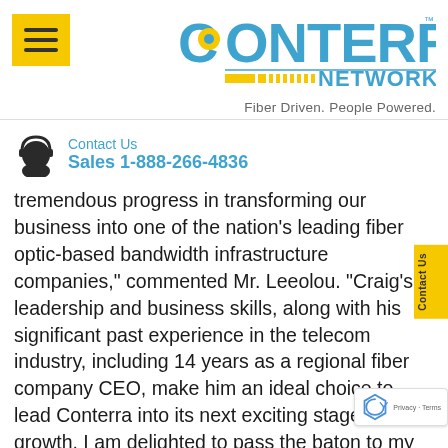[Figure (logo): Conterra Networks logo with hamburger menu button and tagline 'Fiber Driven. People Powered.']
Contact Us
Sales 1-888-266-4836
tremendous progress in transforming our business into one of the nation's leading fiber optic-based bandwidth infrastructure companies," commented Mr. Leeolou.  "Craig's leadership and business skills, along with his significant past experience in the telecom industry, including 14 years as a regional fiber company CEO, make him an ideal choice to lead Conterra into its next exciting stage of growth. I am delighted to pass the baton to my highly capable and respected colleague and friend," added Mr. Leeolou.